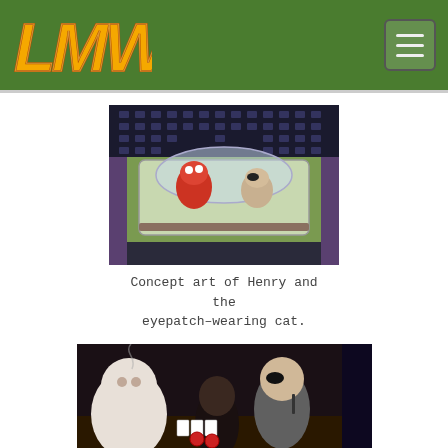LMW logo and navigation menu
[Figure (photo): Concept art photo showing Henry and an eyepatch-wearing cat inside a glass dome or vehicle]
Concept art of Henry and the eyepatch-wearing cat.
[Figure (photo): Concept art photo showing animated characters including a large white figure, a smaller dark figure, and a bald elderly man with an eyepatch, seated at a table with playing cards]